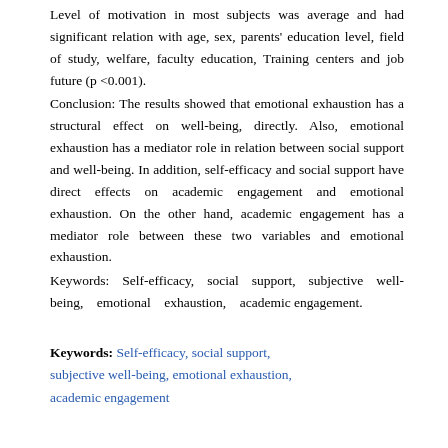Level of motivation in most subjects was average and had significant relation with age, sex, parents' education level, field of study, welfare, faculty education, Training centers and job future (p <0.001).
Conclusion: The results showed that emotional exhaustion has a structural effect on well-being, directly. Also, emotional exhaustion has a mediator role in relation between social support and well-being. In addition, self-efficacy and social support have direct effects on academic engagement and emotional exhaustion. On the other hand, academic engagement has a mediator role between these two variables and emotional exhaustion.
Keywords: Self-efficacy, social support, subjective well-being, emotional exhaustion, academic engagement.
Keywords: Self-efficacy, social support, subjective well-being, emotional exhaustion, academic engagement